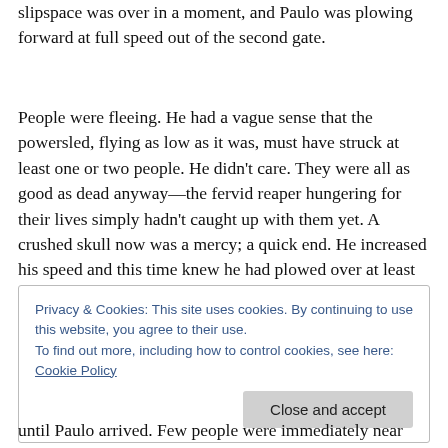slipspace was over in a moment, and Paulo was plowing forward at full speed out of the second gate.
People were fleeing. He had a vague sense that the powersled, flying as low as it was, must have struck at least one or two people. He didn't care. They were all as good as dead anyway—the fervid reaper hungering for their lives simply hadn't caught up with them yet. A crushed skull now was a mercy; a quick end. He increased his speed and this time knew he had plowed over at least half a dozen people.
Privacy & Cookies: This site uses cookies. By continuing to use this website, you agree to their use.
To find out more, including how to control cookies, see here: Cookie Policy
until Paulo arrived. Few people were immediately near